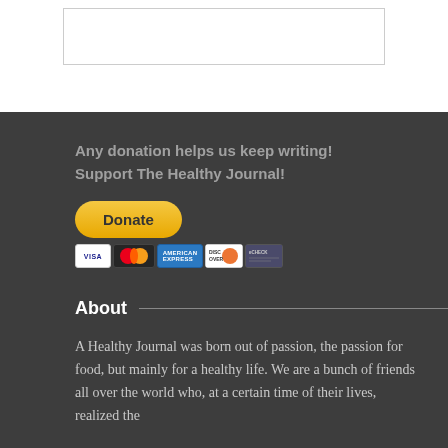[Figure (other): White input/search box with border at top of page]
Any donation helps us keep writing!
Support The Healthy Journal!
[Figure (other): PayPal Donate button (yellow rounded pill shape) with payment card icons below: VISA, Mastercard, Maestro, American Express, Discover, eCheck]
About
A Healthy Journal was born out of passion, the passion for food, but mainly for a healthy life. We are a bunch of friends all over the world who, at a certain time of their lives, realized the